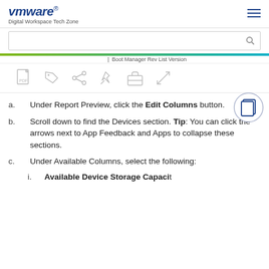VMware Digital Workspace Tech Zone
[Figure (screenshot): Search bar with magnifying glass icon]
Boot Manager Rev List Version
[Figure (other): Toolbar with icons: PDF, tag, share, pin, briefcase, expand]
Under Report Preview, click the Edit Columns button.
Scroll down to find the Devices section. Tip: You can click the arrows next to App Feedback and Apps to collapse these sections.
Under Available Columns, select the following:
Available Device Storage Capacity